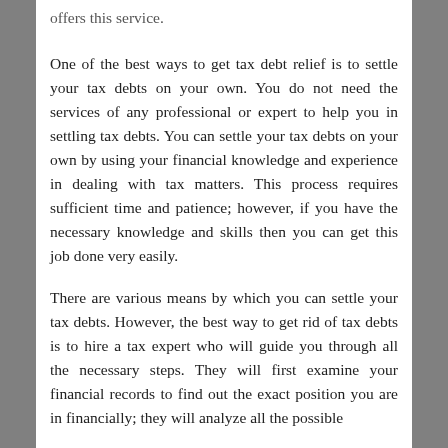offers this service.
One of the best ways to get tax debt relief is to settle your tax debts on your own. You do not need the services of any professional or expert to help you in settling tax debts. You can settle your tax debts on your own by using your financial knowledge and experience in dealing with tax matters. This process requires sufficient time and patience; however, if you have the necessary knowledge and skills then you can get this job done very easily.
There are various means by which you can settle your tax debts. However, the best way to get rid of tax debts is to hire a tax expert who will guide you through all the necessary steps. They will first examine your financial records to find out the exact position you are in financially; they will analyze all the possible